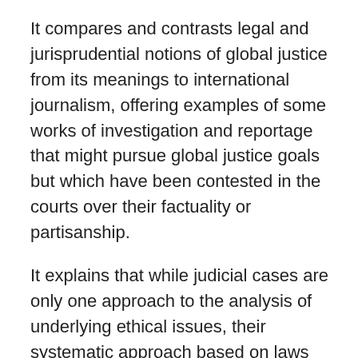It compares and contrasts legal and jurisprudential notions of global justice from its meanings to international journalism, offering examples of some works of investigation and reportage that might pursue global justice goals but which have been contested in the courts over their factuality or partisanship.
It explains that while judicial cases are only one approach to the analysis of underlying ethical issues, their systematic approach based on laws and precedents offers some useful insights.
The chapter explains that some works of advocacy journalism might fall outside the law, or broadly accepted journalism ethical guidelines, but perhaps still encourage ‘ethical flourishing’.